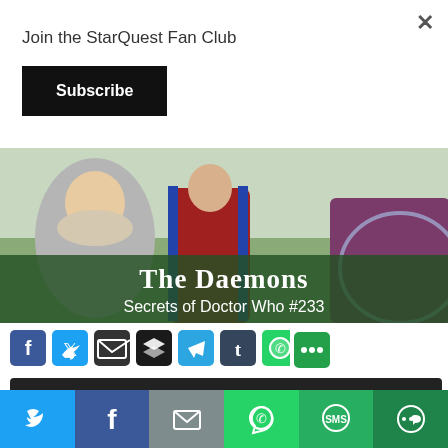×
Join the StarQuest Fan Club
Subscribe
[Figure (photo): Hero image showing two people in outdoor winter clothing. Overlaid text reads 'The Daemons / Secrets of Doctor Who #233' on a dark green banner.]
[Figure (infographic): Row of social share icon buttons: Facebook, Twitter, Email, Buffer, Telegram, Tumblr, WhatsApp, More]
[Figure (infographic): Audio player bar with play button, 00:00 start time, progress bar, 00:00 end time on dark background]
Podcast: Download
WHO233: The 3rd Doctor deals with the Master who poses as
[Figure (infographic): Bottom share bar with Twitter, Facebook, Email, WhatsApp, SMS, More icons on colored backgrounds]